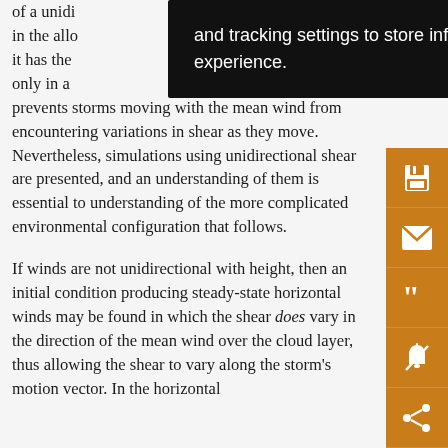of a unidirectional [shear] [ability] in theallo[cated domain. Ho]wever, it has the [advantage that varia]tion only in a [certain direction.] Thi[s] prevents storms moving with the mean wind from encountering variations in shear as they move. Nevertheless, simulations using unidirectional shear are presented, and an understanding of them is essential to understanding of the more complicated environmental configuration that follows.

If winds are not unidirectional with height, then an initial condition producing steady-state horizontal winds may be found in which the shear does vary in the direction of the mean wind over the cloud layer, thus allowing the shear to vary along the storm's motion vector. In the horizontal
and tracking settings to store information that help give you the very best browsing experience.